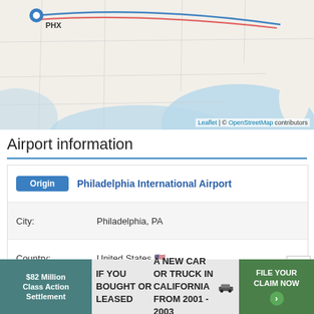[Figure (map): Interactive map showing US geography with a flight route marked by blue and red lines from Phoenix (PHX) area to Philadelphia. Blue location pin visible at origin. Map attributed to Leaflet and OpenStreetMap contributors. Label 'PHX' visible near origin pin.]
Airport information
| Origin | Philadelphia International Airport |
| City: | Philadelphia, PA |
| Country: | United States 🇺🇸 |
| IATA Code: | PHL |
| ICAO Code: | KPHL |
| Coordinates: |  |
[Figure (infographic): Advertisement banner: '$82 Million Class Action Settlement — IF YOU BOUGHT OR LEASED A NEW CAR OR TRUCK IN CALIFORNIA FROM 2001 - 2003 — FILE YOUR CLAIM NOW' with car image and arrow button.]